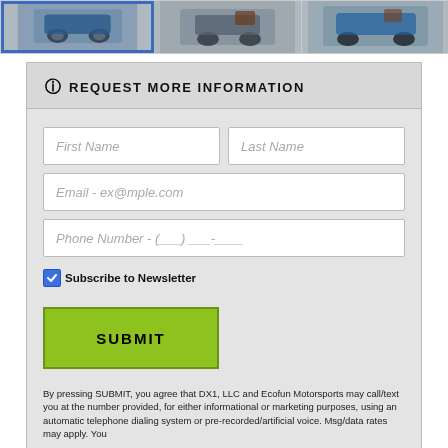[Figure (photo): Three product photos of motorized equipment shown in a horizontal strip at the top of the page. The leftmost image has a blue selection border.]
REQUEST MORE INFORMATION
First Name
Last Name
Email - ex@mple.com
Phone Number - (___) ___-____
Subscribe to Newsletter
SUBMIT
By pressing SUBMIT, you agree that DX1, LLC and Ecofun Motorsports may call/text you at the number provided, for either informational or marketing purposes, using an automatic telephone dialing system or pre-recorded/artificial voice. Msg/data rates may apply. You